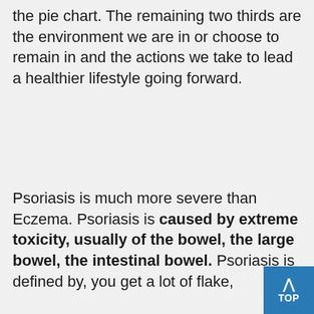the pie chart.  The remaining two thirds are the environment we are in or choose to remain in and the actions we take to lead a healthier lifestyle going forward.
Psoriasis is much more severe than Eczema. Psoriasis is caused by extreme toxicity, usually of the bowel, the large bowel, the intestinal bowel. Psoriasis is defined by, you get a lot of flake,